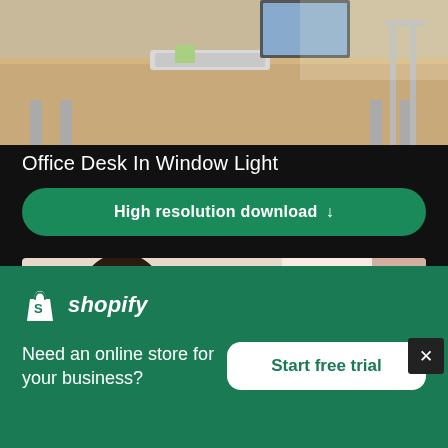[Figure (photo): Office desk with keyboard, monitor, and chairs in window light]
Office Desk In Window Light
High resolution download ↓
[Figure (photo): Woman with headphones and a child with braids, blurred background]
[Figure (logo): Shopify logo with bag icon and italic shopify text]
Need an online store for your business?
Start free trial